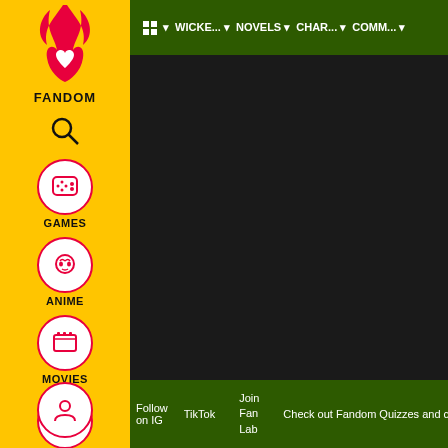[Figure (screenshot): Fandom website sidebar with yellow background showing logo, search icon, and navigation icons for Games, Anime, Movies, TV, Video categories]
PAC-MAN ▾  WICKE... ▾  NOVELS ▾  CHAR... ▾  COMM... ▾
[Figure (screenshot): Dark/black content area in the main panel]
ADVERTISEMENT
Follow on IG  |  TikTok  |  Join Fan Lab  |  Check out Fandom Quizzes and cha...